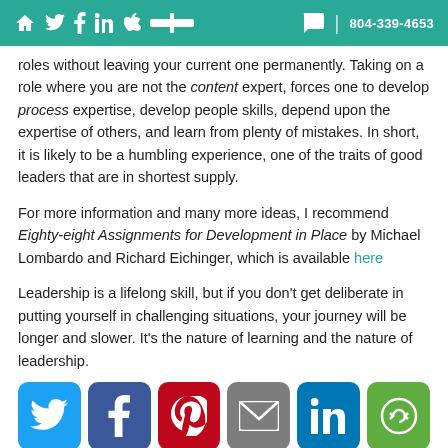🏠 🐦 f in 🍎 ▬ | 💬 | 804-339-4653
roles without leaving your current one permanently. Taking on a role where you are not the content expert, forces one to develop process expertise, develop people skills, depend upon the expertise of others, and learn from plenty of mistakes. In short, it is likely to be a humbling experience, one of the traits of good leaders that are in shortest supply.
For more information and many more ideas, I recommend Eighty-eight Assignments for Development in Place by Michael Lombardo and Richard Eichinger, which is available here
Leadership is a lifelong skill, but if you don't get deliberate in putting yourself in challenging situations, your journey will be longer and slower. It's the nature of learning and the nature of leadership.
[Figure (infographic): Six social sharing buttons: Twitter (blue), Facebook (dark blue), Pinterest (red), Email (gray), LinkedIn (blue), and a green sharing icon.]
Share this article